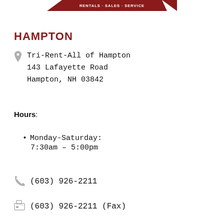[Figure (logo): Red banner/chevron shape with text RENTALS · SALES · SERVICE]
HAMPTON
Tri-Rent-All of Hampton
143 Lafayette Road
Hampton, NH 03842
Hours:
Monday-Saturday:
7:30am – 5:00pm
(603) 926-2211
(603) 926-2211 (Fax)